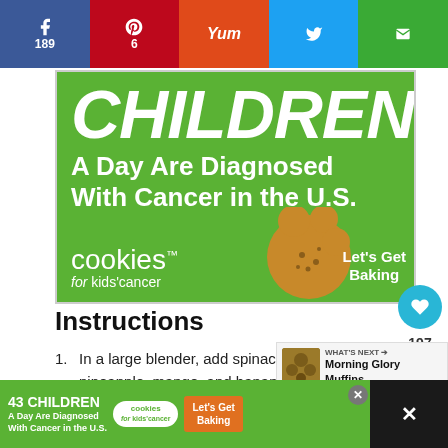[Figure (infographic): Social share bar with Facebook (189), Pinterest (6), Yummly, Twitter, and Email buttons]
[Figure (infographic): Cookies for Kids Cancer advertisement: '43 CHILDREN A Day Are Diagnosed With Cancer in the U.S.' with green background and cookie image and 'Let's Get Baking' text]
Instructions
In a large blender, add spinach, pineapple, mango, and bananas. Top with coco... ginger.
Pour in milk and orange juice until ingredients...
[Figure (infographic): What's Next popup showing Morning Glory Muffins with thumbnail image]
[Figure (infographic): Bottom sticky ad banner: 43 CHILDREN A Day Are Diagnosed With Cancer in the U.S. - Cookies for Kids Cancer - Let's Get Baking]